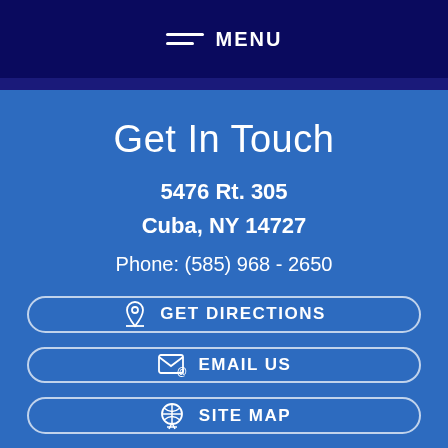MENU
Get In Touch
5476 Rt. 305
Cuba, NY 14727
Phone: (585) 968 - 2650
GET DIRECTIONS
EMAIL US
SITE MAP